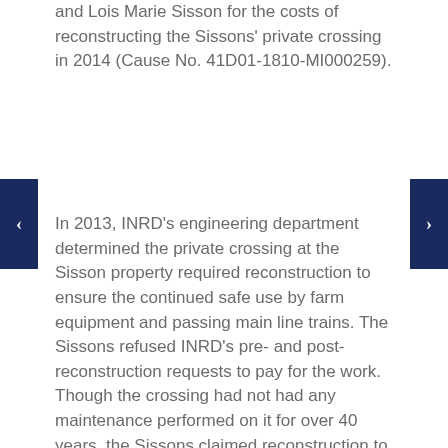and Lois Marie Sisson for the costs of reconstructing the Sissons' private crossing in 2014 (Cause No. 41D01-1810-MI000259).
In 2013, INRD's engineering department determined the private crossing at the Sisson property required reconstruction to ensure the continued safe use by farm equipment and passing main line trains. The Sissons refused INRD's pre- and post-reconstruction requests to pay for the work. Though the crossing had not had any maintenance performed on it for over 40 years, the Sissons claimed reconstruction to install a timber crossing was not necessary and that INRD was precluded from performing any crossing maintenance without their